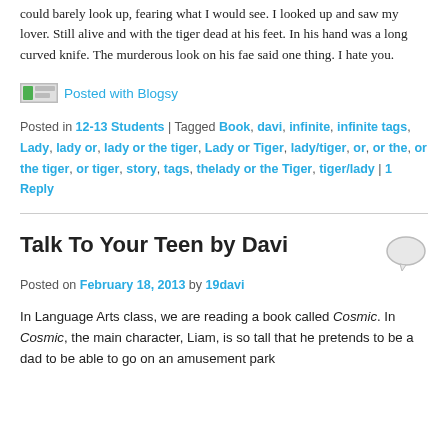could barely look up, fearing what I would see. I looked up and saw my lover. Still alive and with the tiger dead at his feet. In his hand was a long curved knife. The murderous look on his fae said one thing. I hate you.
[Figure (other): Posted with Blogsy logo image and link]
Posted in 12-13 Students | Tagged Book, davi, infinite, infinite tags, Lady, lady or, lady or the tiger, Lady or Tiger, lady/tiger, or, or the, or the tiger, or tiger, story, tags, thelady or the Tiger, tiger/lady | 1 Reply
Talk To Your Teen by Davi
Posted on February 18, 2013 by 19davi
In Language Arts class, we are reading a book called Cosmic. In Cosmic, the main character, Liam, is so tall that he pretends to be a dad to be able to go on an amusement park